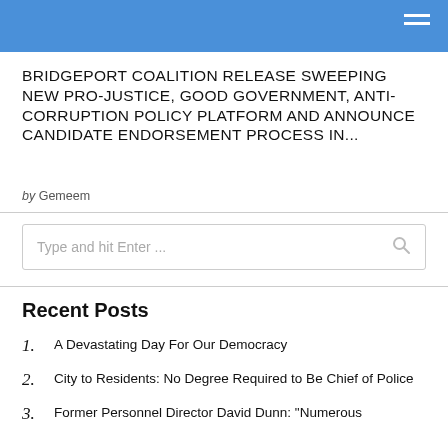BRIDGEPORT COALITION RELEASE SWEEPING NEW PRO-JUSTICE, GOOD GOVERNMENT, ANTI-CORRUPTION POLICY PLATFORM AND ANNOUNCE CANDIDATE ENDORSEMENT PROCESS IN...
by Gemeem
Type and hit Enter ...
Recent Posts
A Devastating Day For Our Democracy
City to Residents: No Degree Required to Be Chief of Police
Former Personnel Director David Dunn: "Numerous